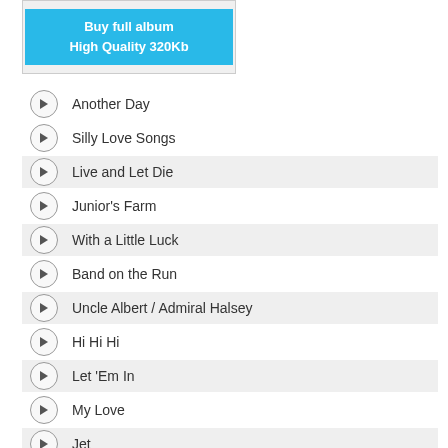[Figure (other): Buy full album button - High Quality 320Kb, cyan/blue background]
Another Day
Silly Love Songs
Live and Let Die
Junior's Farm
With a Little Luck
Band on the Run
Uncle Albert / Admiral Halsey
Hi Hi Hi
Let 'Em In
My Love
Jet
Mull of Kintyre